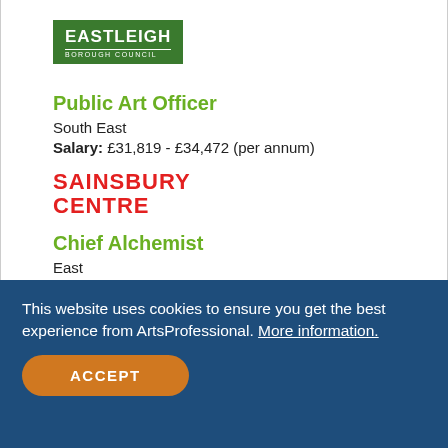[Figure (logo): Eastleigh Borough Council green logo with white text]
Public Art Officer
South East
Salary: £31,819 - £34,472 (per annum)
[Figure (logo): Sainsbury Centre red bold text logo]
Chief Alchemist
East
Salary: £35,333 - £42,155 (per annum)
[Figure (logo): Octagon Theatre Bolton logo]
This website uses cookies to ensure you get the best experience from ArtsProfessional. More information.
ACCEPT